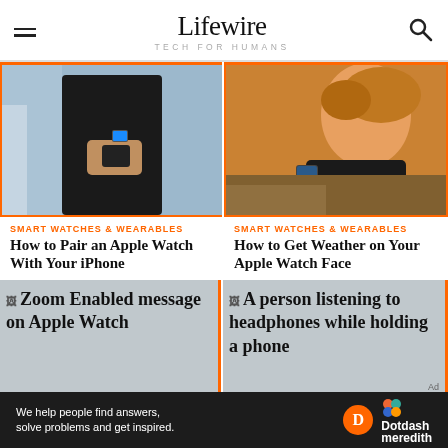Lifewire — TECH FOR HUMANS
[Figure (photo): Person using Apple Watch while holding iPhone, street background]
[Figure (photo): Woman runner checking Apple Watch outdoors in golden light]
SMART WATCHES & WEARABLES
How to Pair an Apple Watch With Your iPhone
SMART WATCHES & WEARABLES
How to Get Weather on Your Apple Watch Face
[Figure (photo): Zoom Enabled message on Apple Watch]
[Figure (photo): A person listening to headphones while holding a phone]
We help people find answers, solve problems and get inspired. Dotdash meredith